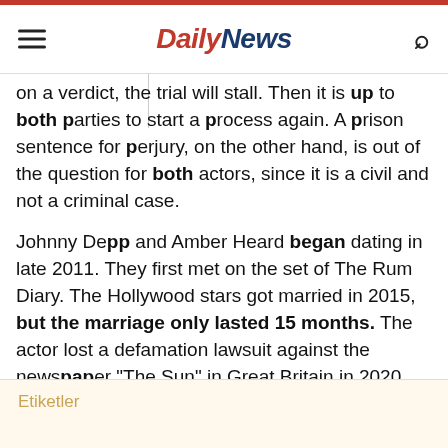Daily News
on a verdict, the trial will stall. Then it is up to both parties to start a process again. A prison sentence for perjury, on the other hand, is out of the question for both actors, since it is a civil and not a criminal case.
Johnny Depp and Amber Heard began dating in late 2011. They first met on the set of The Rum Diary. The Hollywood stars got married in 2015, but the marriage only lasted 15 months. The actor lost a defamation lawsuit against the newspaper "The Sun" in Great Britain in 2020. The newspaper had described Depp in an article as a "wife beater".
Etiketler